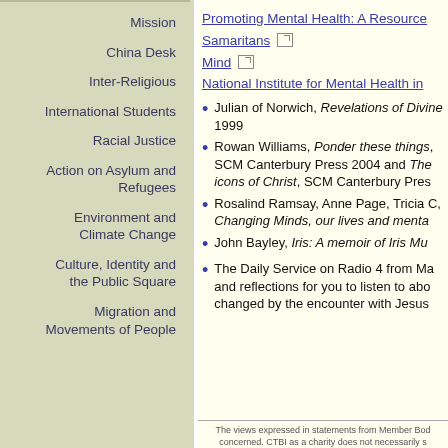Mission
China Desk
Inter-Religious
International Students
Racial Justice
Action on Asylum and Refugees
Environment and Climate Change
Culture, Identity and the Public Square
Migration and Movements of People
Promoting Mental Health: A Resource [link]
Samaritans [ext link]
Mind [ext link]
National Institute for Mental Health in [link]
Julian of Norwich, Revelations of Divine Love [italic], 1999
Rowan Williams, Ponder these things [italic], SCM Canterbury Press 2004 and The [italic] icons of Christ [italic], SCM Canterbury Pres...
Rosalind Ramsay, Anne Page, Tricia ..., Changing Minds, our lives and menta...
John Bayley, Iris: A memoir of Iris Mu...
The Daily Service on Radio 4 from Ma... and reflections for you to listen to abo... changed by the encounter with Jesus...
The views expressed in statements from Member Bod... concerned. CTBI as a charity does not necessarily s...